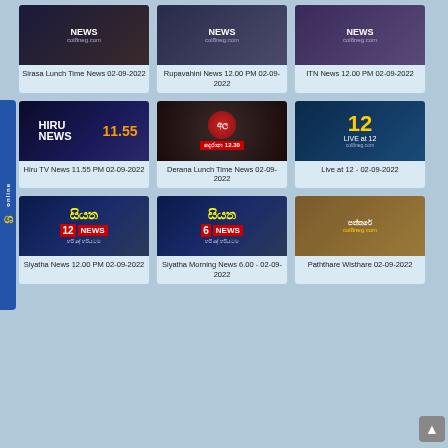[Figure (screenshot): Grid of Sri Lankan news broadcast thumbnails with titles]
Sirasa Lunch Time News 02-09-2022
Rupavahini News 12.00 PM 02-09-2022
ITN News 12.00 PM 02-09-2022
Hiru TV News 11.55 PM 02-09-2022
Derana Lunch Time News 02-09-2022
Live at 12 - 02-09-2022
Siyatha News 12.00 PM 02-09-2022
Siyatha Morning News 6.00 - 02-09-2022
Paththare Wisthare 02-09-2022